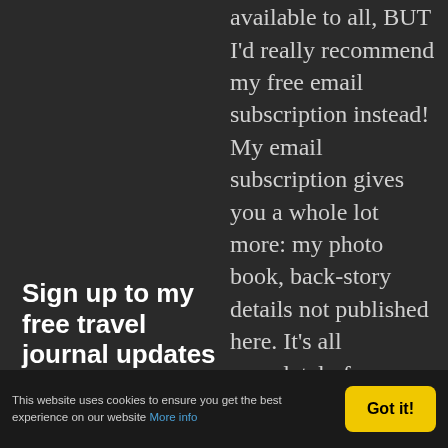Sign up to my free travel journal updates
available to all, BUT I'd really recommend my free email subscription instead! My email subscription gives you a whole lot more: my photo book, back-story details not published here. It's all completely free,
This website uses cookies to ensure you get the best experience on our website More info